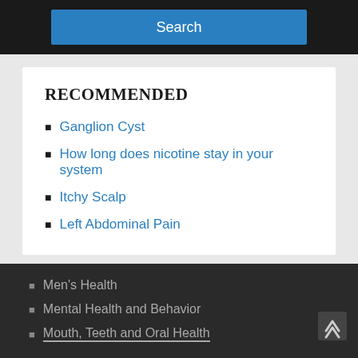Search
RECOMMENDED
Ganglion Cyst
How long does nicotine stay in your system
Itchy Scalp
Left Abdominal Pain
Men's Health
Mental Health and Behavior
Mouth, Teeth and Oral Health